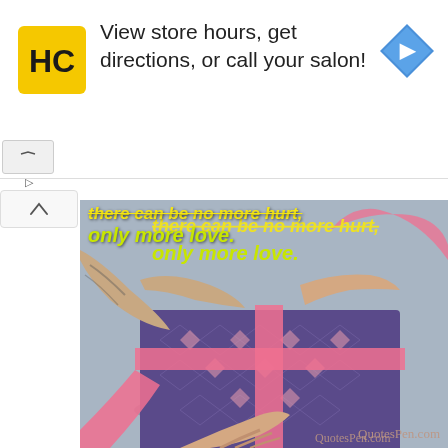[Figure (screenshot): Advertisement banner: HC (Hair Club) logo on yellow square background, text 'View store hours, get directions, or call your salon!', blue navigation arrow icon on right. Below: play and close controls. Main content: photo of hands tying a pink ribbon on a purple gift-wrapped box with diamond pattern, overlaid with quote text 'there can be no more hurt, only more love.' in yellow/green italic font. QuotesPen.com watermark bottom right.]